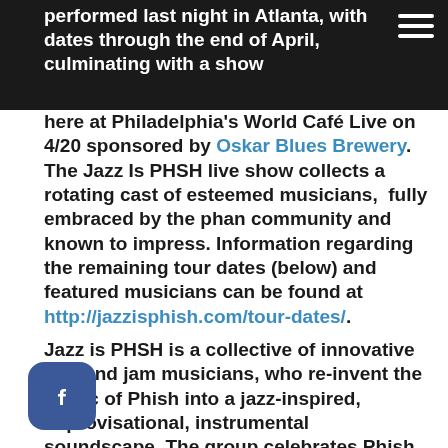performed last night in Atlanta, with dates through the end of April, culminating with a show
here at Philadelphia's World Café Live on 4/20 sponsored by Oskar Blues Brewery. The Jazz Is PHSH live show collects a rotating cast of esteemed musicians, fully embraced by the phan community and known to impress. Information regarding the remaining tour dates (below) and featured musicians can be found at http://jazzisphish.com/tour-dates/.
Jazz is PHSH is a collective of innovative jazz and jam musicians, who re-invent the music of Phish into a jazz-inspired, improvisational, instrumental soundscape. The group celebrates Phish through a jazz filter, adding the perfect on of horns to the music with an intense focus on legitimacy and un-matched musicianship. Jazz is PHSH's authenticity is